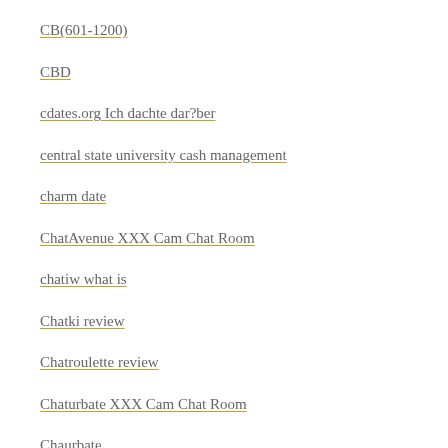CB(601-1200)
CBD
cdates.org Ich dachte dar?ber
central state university cash management
charm date
ChatAvenue XXX Cam Chat Room
chatiw what is
Chatki review
Chatroulette review
Chaturbate XXX Cam Chat Room
Chaurbate
Cheap Essay Writing Service
CheapTermPaper